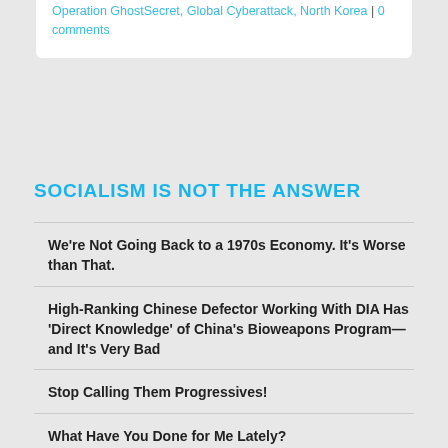Operation GhostSecret, Global Cyberattack, North Korea | 0 comments
SOCIALISM IS NOT THE ANSWER
We're Not Going Back to a 1970s Economy. It's Worse than That.
High-Ranking Chinese Defector Working With DIA Has 'Direct Knowledge' of China's Bioweapons Program—and It's Very Bad
Stop Calling Them Progressives!
What Have You Done for Me Lately?